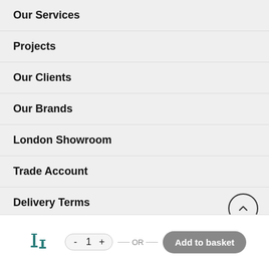Our Services
Projects
Our Clients
Our Brands
London Showroom
Trade Account
Delivery Terms
Norse Lighting
— OR —  Add to basket